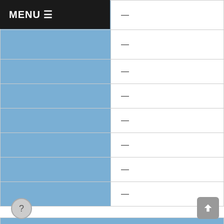|  | Value |
| --- | --- |
|  | — |
|  | — |
|  | — |
|  | — |
|  | — |
|  | — |
|  | — |
|  | — |
| Economically Disadvantaged |  |
|  | 7 |
|  | 3 |
|  | 42% |